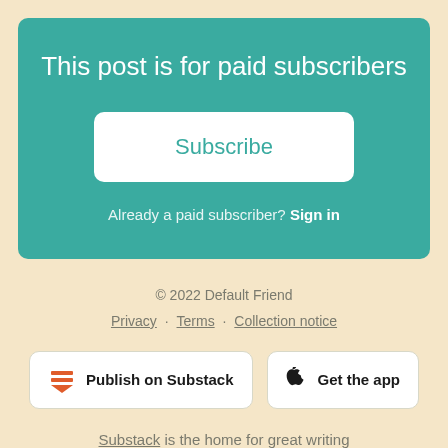This post is for paid subscribers
Subscribe
Already a paid subscriber? Sign in
© 2022 Default Friend
Privacy · Terms · Collection notice
Publish on Substack
Get the app
Substack is the home for great writing